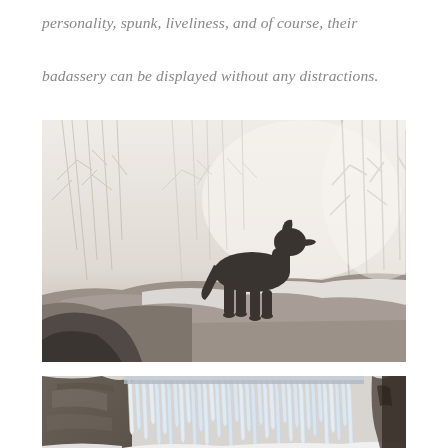personality, spunk, liveliness, and of course, their badassery can be displayed without any distractions.
[Figure (photo): A black dog standing alert on large rocks in a misty winter forest with bare trees and snow on the ground.]
[Figure (photo): A winter scene showing a frozen waterfall with long icicles hanging from rocky cliffs, with snow-covered ground and a dark figure partially visible on the right edge.]